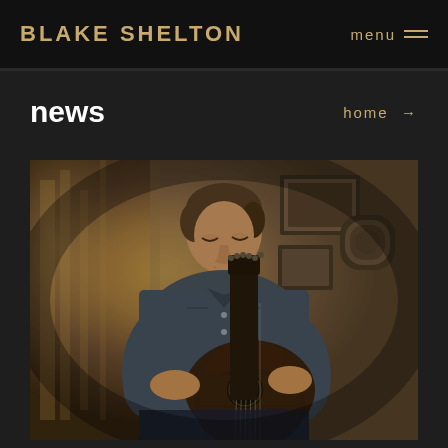BLAKE SHELTON
menu
news
home →
[Figure (photo): Man (Blake Shelton) sitting and playing an acoustic guitar in a warmly lit room with curtains and framed pictures on the wall in the background. He is wearing a denim shirt.]